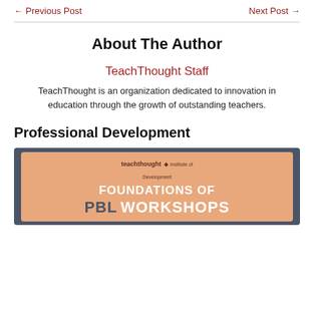← Previous Post    Next Post →
About The Author
TeachThought Staff
TeachThought is an organization dedicated to innovation in education through the growth of outstanding teachers.
Professional Development
[Figure (infographic): Foundations of PBL Workshops banner with ONLINE and ON-SITE options, TeachThought logo on salmon/orange background with dark grey outer border]